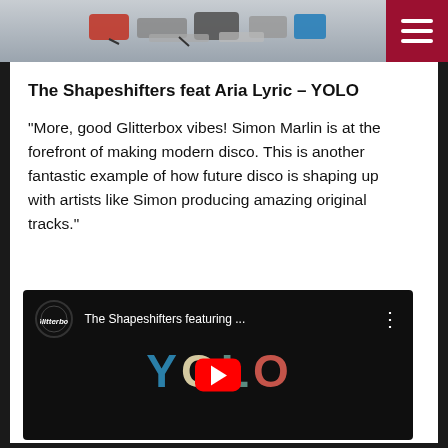[Figure (photo): Top banner image showing decorative items on a gray background]
The Shapeshifters feat Aria Lyric – YOLO
“More, good Glitterbox vibes! Simon Marlin is at the forefront of making modern disco. This is another fantastic example of how future disco is shaping up with artists like Simon producing amazing original tracks.”
[Figure (screenshot): YouTube video embed showing The Shapeshifters featuring Aria Lyric - YOLO, with YOLO letters in blue, cream, teal and red colors on a black background, with a red YouTube play button overlay]